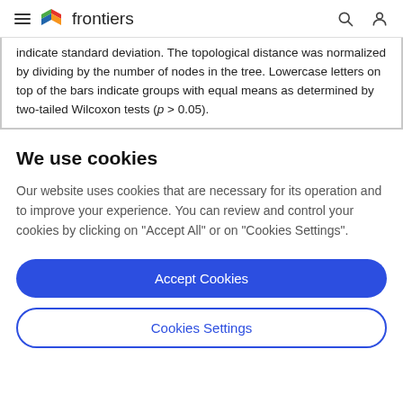frontiers
indicate standard deviation. The topological distance was normalized by dividing by the number of nodes in the tree. Lowercase letters on top of the bars indicate groups with equal means as determined by two-tailed Wilcoxon tests (p > 0.05).
We use cookies
Our website uses cookies that are necessary for its operation and to improve your experience. You can review and control your cookies by clicking on "Accept All" or on "Cookies Settings".
Accept Cookies
Cookies Settings